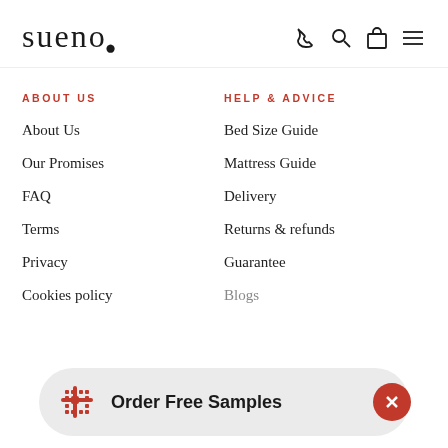sueno
ABOUT US
About Us
Our Promises
FAQ
Terms
Privacy
Cookies policy
HELP & ADVICE
Bed Size Guide
Mattress Guide
Delivery
Returns & refunds
Guarantee
Blogs
Order Free Samples